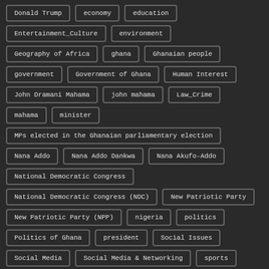Donald Trump
economy
education
Entertainment_Culture
environment
Geography of Africa
ghana
Ghanaian people
government
Government of Ghana
Human Interest
John Dramani Mahama
john mahama
Law_Crime
mahama
minister
MPs elected in the Ghanaian parliamentary election
Nana Addo
Nana Addo Dankwa
Nana Akufo-Addo
National Democratic Congress
National Democratic Congress (NDC)
New Patriotic Party
New Patriotic Party (NPP)
nigeria
politics
Politics of Ghana
president
Social Issues
Social Media
Social Media & Networking
sports